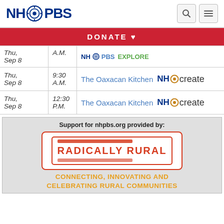NH PBS
DONATE ♥
| Date | Time | Show | Channel |
| --- | --- | --- | --- |
| Thu, Sep 8 | A.M. |  | NH PBS EXPLORE |
| Thu, Sep 8 | 9:30 A.M. | The Oaxacan Kitchen | NH Create |
| Thu, Sep 8 | 12:30 P.M. | The Oaxacan Kitchen | NH Create |
[Figure (logo): Radically Rural sponsor logo with text: Support for nhpbs.org provided by: RADICALLY RURAL — CONNECTING, INNOVATING AND CELEBRATING RURAL COMMUNITIES]